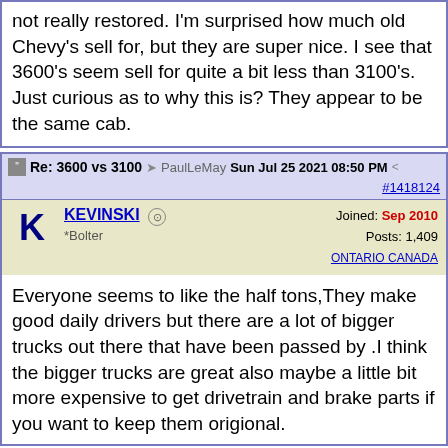not really restored. I'm surprised how much old Chevy's sell for, but they are super nice. I see that 3600's seem sell for quite a bit less than 3100's. Just curious as to why this is? They appear to be the same cab.
Re: 3600 vs 3100 → PaulLeMay Sun Jul 25 2021 08:50 PM < #1418124
KEVINSKI — Joined: Sep 2010 *Bolter Posts: 1,409 ONTARIO CANADA
Everyone seems to like the half tons,They make good daily drivers but there are a lot of bigger trucks out there that have been passed by .I think the bigger trucks are great also maybe a little bit more expensive to get drivetrain and brake parts if you want to keep them origional.
Re: 3600 vs 3100 → PaulLeMay Sun Jul 25 2021 10:01 PM < #1418138
68ironhead — Joined: Apr 2010 *Bolter Posts: 347 central coast CA
3600's have heavier frames and suspensions and are